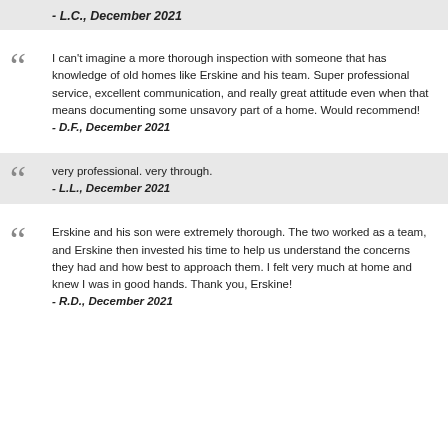- L.C., December 2021
I can't imagine a more thorough inspection with someone that has knowledge of old homes like Erskine and his team. Super professional service, excellent communication, and really great attitude even when that means documenting some unsavory part of a home. Would recommend!
- D.F., December 2021
very professional. very through.
- L.L., December 2021
Erskine and his son were extremely thorough. The two worked as a team, and Erskine then invested his time to help us understand the concerns they had and how best to approach them. I felt very much at home and knew I was in good hands. Thank you, Erskine!
- R.D., December 2021